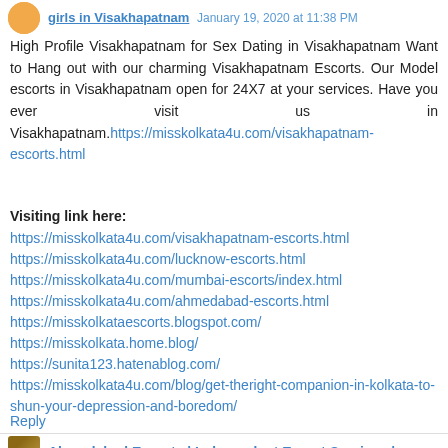girls in Visakhapatnam January 19, 2020 at 11:38 PM
High Profile Visakhapatnam for Sex Dating in Visakhapatnam Want to Hang out with our charming Visakhapatnam Escorts. Our Model escorts in Visakhapatnam open for 24X7 at your services. Have you ever visit us in Visakhapatnam.https://misskolkata4u.com/visakhapatnam-escorts.html
Visiting link here:
https://misskolkata4u.com/visakhapatnam-escorts.html
https://misskolkata4u.com/lucknow-escorts.html
https://misskolkata4u.com/mumbai-escorts/index.html
https://misskolkata4u.com/ahmedabad-escorts.html
https://misskolkataescorts.blogspot.com/
https://misskolkata.home.blog/
https://sunita123.hatenablog.com/
https://misskolkata4u.com/blog/get-theright-companion-in-kolkata-to-shun-your-depression-and-boredom/
Reply
Ahmedabad Escorts | Independent Escort Services |